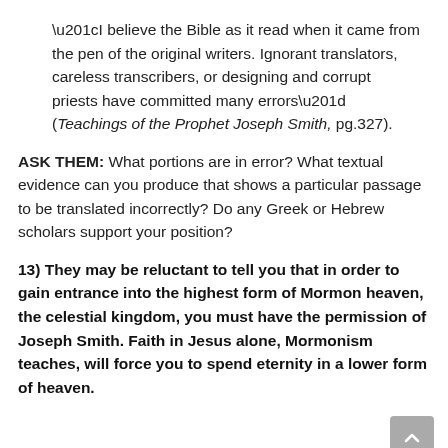“I believe the Bible as it read when it came from the pen of the original writers. Ignorant translators, careless transcribers, or designing and corrupt priests have committed many errors” (Teachings of the Prophet Joseph Smith, pg.327).
ASK THEM: What portions are in error? What textual evidence can you produce that shows a particular passage to be translated incorrectly? Do any Greek or Hebrew scholars support your position?
13) They may be reluctant to tell you that in order to gain entrance into the highest form of Mormon heaven, the celestial kingdom, you must have the permission of Joseph Smith. Faith in Jesus alone, Mormonism teaches, will force you to spend eternity in a lower form of heaven.